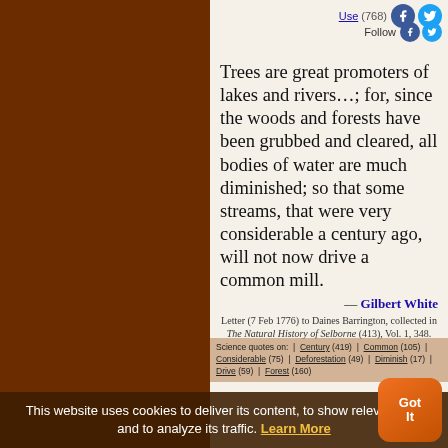Use (768)
Follow
Trees are great promoters of lakes and rivers…; for, since the woods and forests have been grubbed and cleared, all bodies of water are much diminished; so that some streams, that were very considerable a century ago, will not now drive a common mill.
— Gilbert White
Letter (7 Feb 1776) to Daines Barrington, collected in The Natural History of Selborne (413), Vol. 1, 348.
Science quotes on: | Century (419) | Common (105) | Considerable (75) | Deforestation (49) | Diminish (17) | Drive (59) | Forest (160)
This website uses cookies to deliver its content, to show relevant ads and to analyze its traffic. Learn More